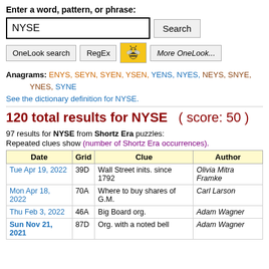Enter a word, pattern, or phrase:
NYSE [search input]
Anagrams: ENYS, SEYN, SYEN, YSEN, YENS, NYES, NEYS, SNYE, YNES, SYNE
See the dictionary definition for NYSE.
120 total results for NYSE  ( score: 50 )
97 results for NYSE from Shortz Era puzzles:
Repeated clues show (number of Shortz Era occurrences).
| Date | Grid | Clue | Author |
| --- | --- | --- | --- |
| Tue Apr 19, 2022 | 39D | Wall Street inits. since 1792 | Olivia Mitra Framke |
| Mon Apr 18, 2022 | 70A | Where to buy shares of G.M. | Carl Larson |
| Thu Feb 3, 2022 | 46A | Big Board org. | Adam Wagner |
| Sun Nov 21, 2021 | 87D | Org. with a noted bell | Adam Wagner |